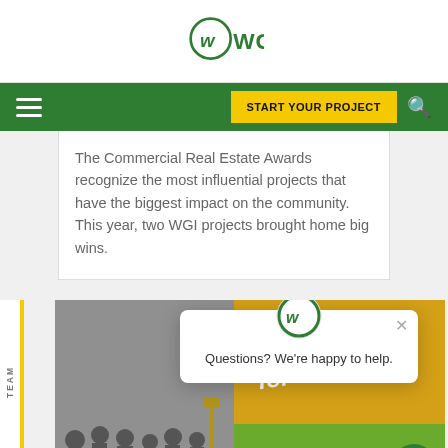WGI
The Commercial Real Estate Awards recognize the most influential projects that have the biggest impact on the community. This year, two WGI projects brought home big wins.
[Figure (screenshot): Bottom section showing 'PASSION for PEOPLE' marketing image with group photo and a chat popup saying 'Questions? We're happy to help.' with WGI logo, and side tabs labeled TEAM and CAREERS.]